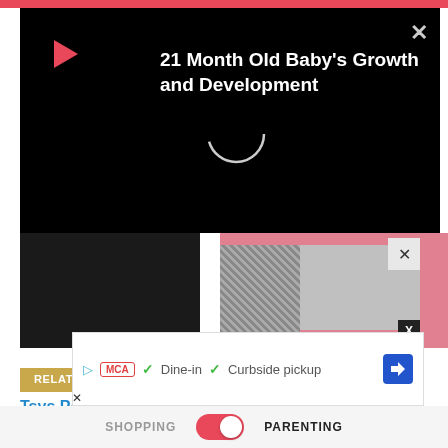[Figure (screenshot): Video popup overlay on black background with play icon, circular loading indicator, and title '21 Month Old Baby's Growth and Development']
21 Month Old Baby's Growth and Development
[Figure (photo): Image strip showing partial figures - dark left portion and pink/plaid patterned right portion with close X button]
RELATED LINKS
Tsys Payment Gateway
St Marys Food Banks
[Figure (screenshot): Advertisement banner with play icon, MCA badge, checkmarks for Dine-in and Curbside pickup, and blue arrow diamond icon]
SHOPPING   [toggle]   PARENTING